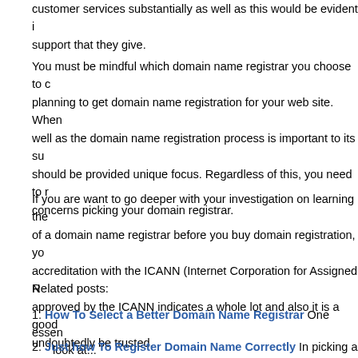customer services substantially as well as this would be evident in the support that they give.
You must be mindful which domain name registrar you choose to deal when planning to get domain name registration for your web site. When well as the domain name registration process is important to its success, it should be provided unique focus. Regardless of this, you need to make concerns picking your domain registrar.
If you are want to go deeper with your investigation on learning the of a domain name registrar before you buy domain registration, you accreditation with the ICANN (Internet Corporation for Assigned Names). approved by the ICANN indicates a whole lot and also it is a good undoubtedly be trusted.
Related posts:
1. How To Select a Better Domain Name Registrar One essential look at...
2. Just how To Register Domain Name Correctly In picking a d keywords that...